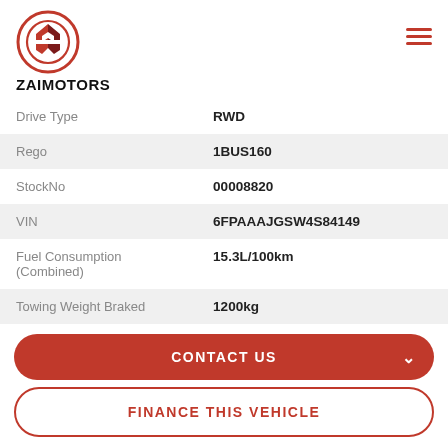[Figure (logo): ZAI Motors logo: red circle with stylized '2M' initials inside, below is bold text ZAIMOTORS]
| Drive Type | RWD |
| Rego | 1BUS160 |
| StockNo | 00008820 |
| VIN | 6FPAAAJGSW4S84149 |
| Fuel Consumption (Combined) | 15.3L/100km |
| Towing Weight Braked | 1200kg |
CONTACT US
FINANCE THIS VEHICLE